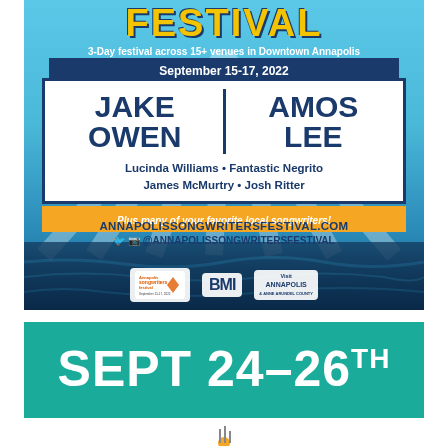FESTIVAL
3-Day festival across 15+ venues in Downtown Annapolis
September 15-17, 2022
JAKE OWEN | AMOS LEE
Lucinda Williams • Fantastic Negrito
James McMurtry • Josh Ritter
Plus many of your favorite local songwriters!
ANNAPOLISSONGWRITERSFESTIVAL.COM
f  @ANNAPOLISSONGWRITERSFESTIVAL
[Figure (logo): Annapolis Songwriters Festival logo, BMI logo, Visit Annapolis & Anne Arundel County logo]
SEPT 24–26TH